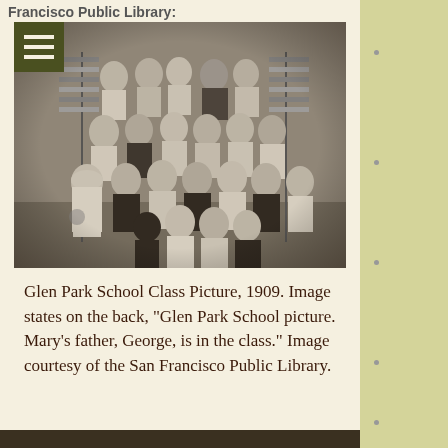Francisco Public Library:
[Figure (photo): Black and white class photograph from 1909 showing Glen Park School students and teacher posing together, with American flags visible in the background. Children are dressed in early 20th century clothing, many in white dresses and dark ties.]
Glen Park School Class Picture, 1909. Image states on the back, "Glen Park School picture. Mary's father, George, is in the class." Image courtesy of the San Francisco Public Library.